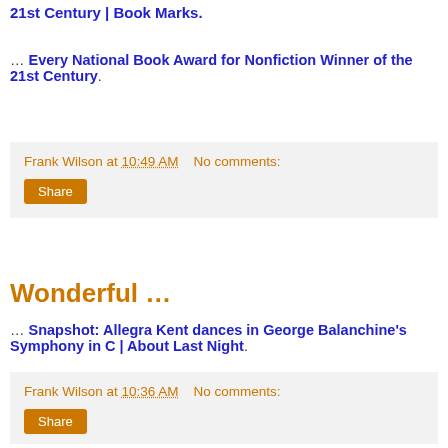21st Century | Book Marks.
… Every National Book Award for Nonfiction Winner of the 21st Century.
Frank Wilson at 10:49 AM   No comments:
Wonderful …
… Snapshot: Allegra Kent dances in George Balanchine's Symphony in C | About Last Night.
Frank Wilson at 10:36 AM   No comments: